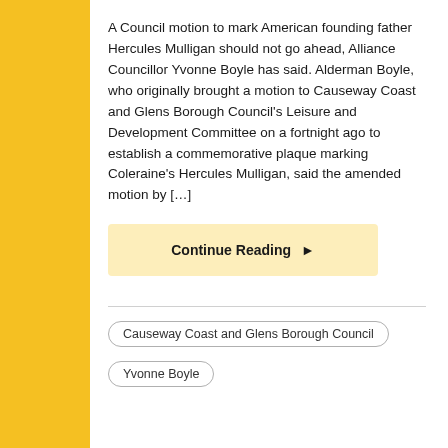A Council motion to mark American founding father Hercules Mulligan should not go ahead, Alliance Councillor Yvonne Boyle has said. Alderman Boyle, who originally brought a motion to Causeway Coast and Glens Borough Council's Leisure and Development Committee on a fortnight ago to establish a commemorative plaque marking Coleraine's Hercules Mulligan, said the amended motion by […]
Continue Reading ▶
Causeway Coast and Glens Borough Council
Yvonne Boyle